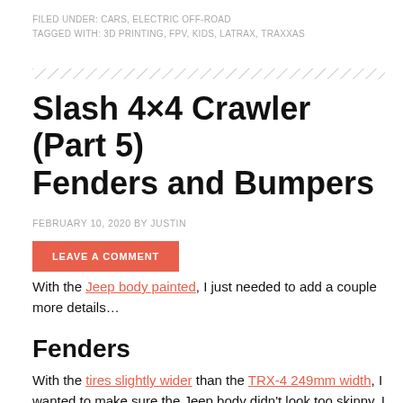FILED UNDER: CARS, ELECTRIC OFF-ROAD
TAGGED WITH: 3D PRINTING, FPV, KIDS, LATRAX, TRAXXAS
[Figure (other): Decorative diagonal hatch divider line]
Slash 4×4 Crawler (Part 5) Fenders and Bumpers
FEBRUARY 10, 2020 BY JUSTIN
LEAVE A COMMENT
With the Jeep body painted, I just needed to add a couple more details…
Fenders
With the tires slightly wider than the TRX-4 249mm width, I wanted to make sure the Jeep body didn't look too skinny. I